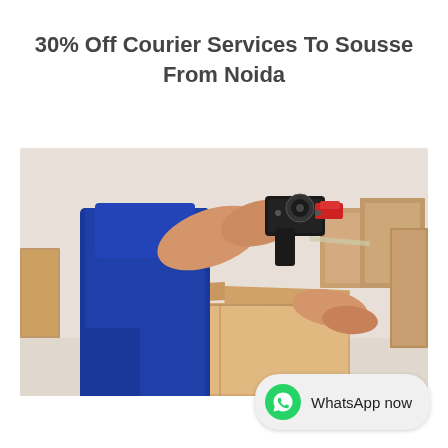30% Off Courier Services To Sousse From Noida
[Figure (photo): A person in blue shorts using a tape gun to seal a cardboard box, with more boxes in the background in a warehouse or logistics setting.]
WhatsApp now